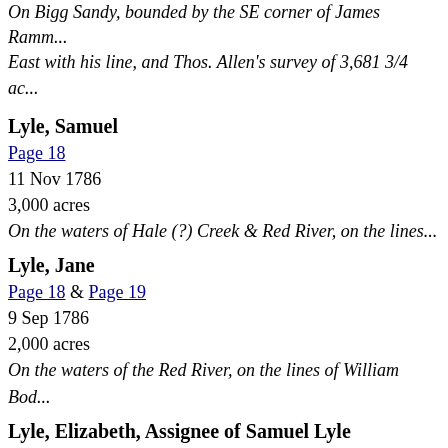On Bigg Sandy, bounded by the SE corner of James Ramm... East with his line, and Thos. Allen's survey of 3,681 3/4 ac...
Lyle, Samuel
Page 18
11 Nov 1786
3,000 acres
On the waters of Hale (?) Creek & Red River, on the lines...
Lyle, Jane
Page 18 & Page 19
9 Sep 1786
2,000 acres
On the waters of the Red River, on the lines of William Bod...
Lyle, Elizabeth, Assignee of Samuel Lyle
Page 19
9 Sep 1786
2,000 acres
On the waters of the Red River, on the lines of William Bod...